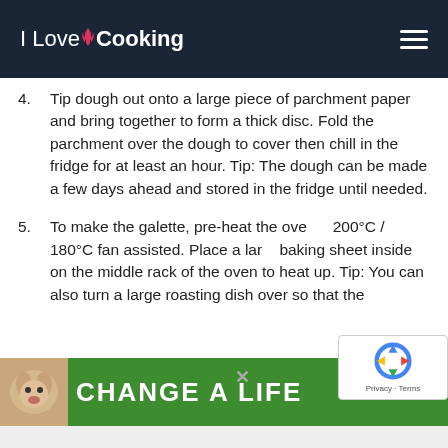I Love Cooking
4. Tip dough out onto a large piece of parchment paper and bring together to form a thick disc. Fold the parchment over the dough to cover then chill in the fridge for at least an hour. Tip: The dough can be made a few days ahead and stored in the fridge until needed.
5. To make the galette, pre-heat the oven 200°C / 180°C fan assisted. Place a large baking sheet inside on the middle rack of the oven to heat up. Tip: You can also turn a large roasting dish over so that the
[Figure (screenshot): reCAPTCHA widget overlay showing the reCAPTCHA logo and Privacy - Terms text]
[Figure (screenshot): Green advertisement bar at bottom with dog photo and text CHANGE A LIFE]